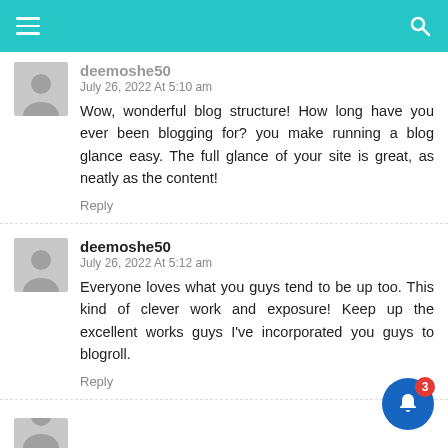Navigation bar with hamburger menu and search icon
deemoshe50 (partial, truncated at top)
July 26, 2022 At 5:10 am
Wow, wonderful blog structure! How long have you ever been blogging for? you make running a blog glance easy. The full glance of your site is great, as neatly as the content!
Reply
deemoshe50
July 26, 2022 At 5:12 am
Everyone loves what you guys tend to be up too. This kind of clever work and exposure! Keep up the excellent works guys I've incorporated you guys to blogroll.
Reply